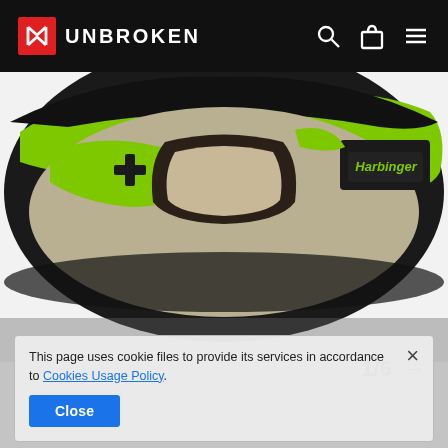UNBROKEN
[Figure (photo): Close-up of a Harbinger weightlifting belt in green, gray, and black colors with a plus symbol embroidered on it. The belt has a velcro strap closure with a black patch labeled 'Harbinger' in green text.]
1/6 →
This page uses cookie files to provide its services in accordance to Cookies Usage Policy.
Close